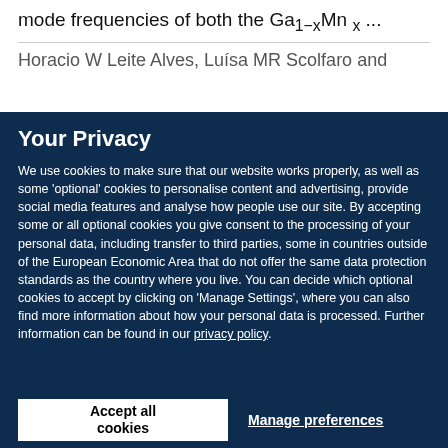mode frequencies of both the Ga1−xMnx ...
Horacio W Leite Alves, Luísa MR Scolfaro and
Your Privacy
We use cookies to make sure that our website works properly, as well as some 'optional' cookies to personalise content and advertising, provide social media features and analyse how people use our site. By accepting some or all optional cookies you give consent to the processing of your personal data, including transfer to third parties, some in countries outside of the European Economic Area that do not offer the same data protection standards as the country where you live. You can decide which optional cookies to accept by clicking on 'Manage Settings', where you can also find more information about how your personal data is processed. Further information can be found in our privacy policy.
Accept all cookies
Manage preferences